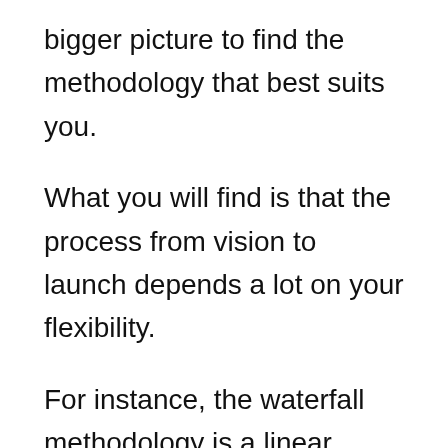bigger picture to find the methodology that best suits you.
What you will find is that the process from vision to launch depends a lot on your flexibility.
For instance, the waterfall methodology is a linear approach to tech development and each of its stages must be finished before the next one can begin. Because the design is decided on early in the development lifecycle, this approach is better suited for projects where multiple software components must be designed.